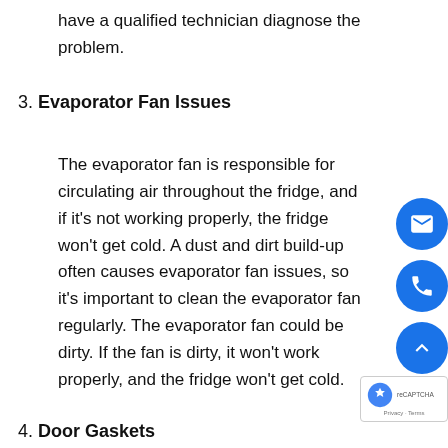have a qualified technician diagnose the problem.
3. Evaporator Fan Issues
The evaporator fan is responsible for circulating air throughout the fridge, and if it's not working properly, the fridge won't get cold. A dust and dirt build-up often causes evaporator fan issues, so it's important to clean the evaporator fan regularly. The evaporator fan could be dirty. If the fan is dirty, it won't work properly, and the fridge won't get cold.
4. Door Gaskets